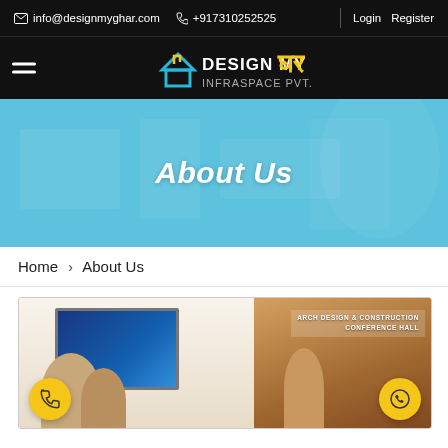info@designmyghar.com  +917310252525  Login  Register
[Figure (logo): Design My Ghar logo with house icon in blue and yellow]
About Us
Home > About Us
[Figure (photo): Interior design conference hall with people looking at a screen on the wall, ARCH DESIGN & CONSTRUCTION CONFERENCE HALL label visible, yellow call and WhatsApp buttons at bottom corners]